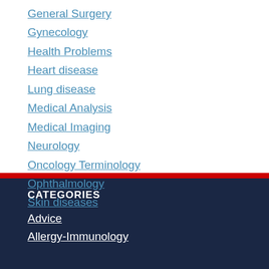General Surgery
Gynecology
Health Problems
Heart disease
Lung disease
Medical Analysis
Medical Imaging
Neurology
Oncology Terminology
Ophthalmology
Skin diseases
CATEGORIES
Advice
Allergy-Immunology